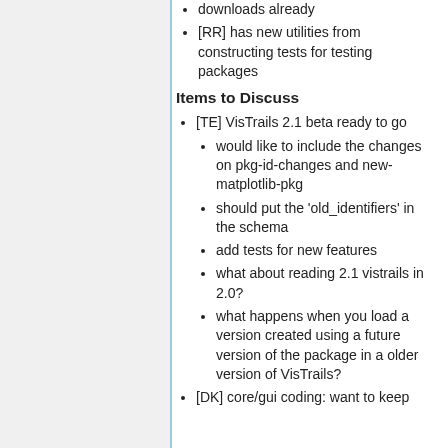downloads already
[RR] has new utilities from constructing tests for testing packages
Items to Discuss
[TE] VisTrails 2.1 beta ready to go
would like to include the changes on pkg-id-changes and new-matplotlib-pkg
should put the 'old_identifiers' in the schema
add tests for new features
what about reading 2.1 vistrails in 2.0?
what happens when you load a version created using a future version of the package in a older version of VisTrails?
[DK] core/gui coding: want to keep